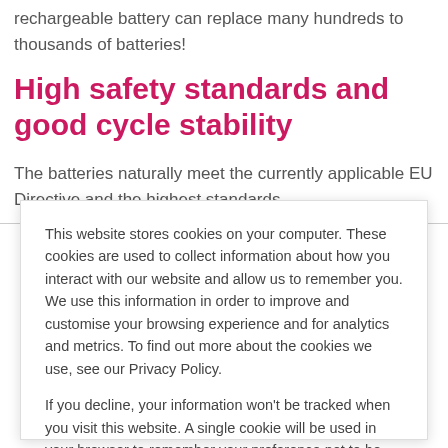rechargeable battery can replace many hundreds to thousands of batteries!
High safety standards and good cycle stability
The batteries naturally meet the currently applicable EU Directive and the highest standards
This website stores cookies on your computer. These cookies are used to collect information about how you interact with our website and allow us to remember you. We use this information in order to improve and customise your browsing experience and for analytics and metrics. To find out more about the cookies we use, see our Privacy Policy.
If you decline, your information won't be tracked when you visit this website. A single cookie will be used in your browser to remember your preference not to be tracked.